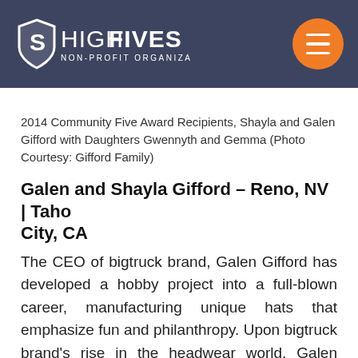HIGH FIVES NON-PROFIT ORGANIZATION
2014 Community Five Award Recipients, Shayla and Galen Gifford with Daughters Gwennyth and Gemma (Photo Courtesy: Gifford Family)
Galen and Shayla Gifford – Reno, NV | Tahoe City, CA
The CEO of bigtruck brand, Galen Gifford has developed a hobby project into a full-blown career, manufacturing unique hats that emphasize fun and philanthropy. Upon bigtruck brand's rise in the headwear world, Galen immediately made sure that a partnership and bond was formed with the